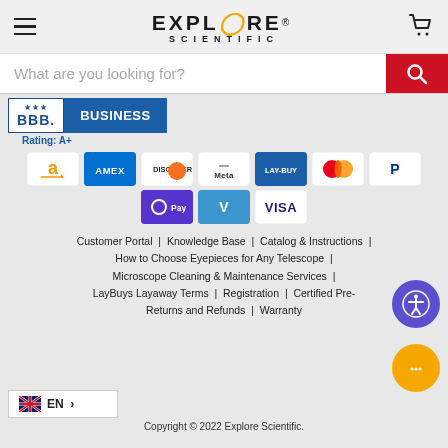Explore Scientific
What are you looking for?
[Figure (logo): BBB Business badge with Rating A+]
[Figure (infographic): Payment method icons: Amazon, Amex, Discover, Meta, Lay-Buy, Mastercard, PayPal, OPay, Venmo, Visa]
Customer Portal | Knowledge Base | Catalog & Instructions | How to Choose Eyepieces for Any Telescope | Microscope Cleaning & Maintenance Services | LayBuys Layaway Terms | Registration | Certified Pre- Returns and Refunds | Warranty
Copyright © 2022 Explore Scientific.